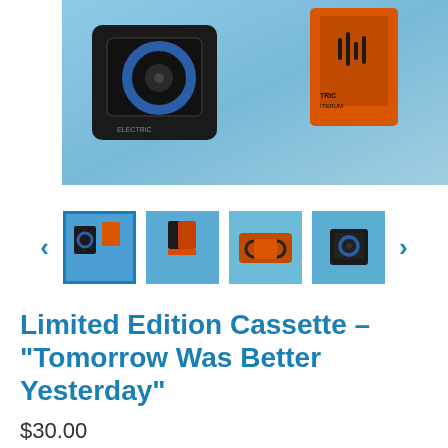[Figure (photo): Product photo of a limited edition cassette tape - black cassette case with blue reel and orange cassette tape, displayed against a blue sky background]
[Figure (photo): Thumbnail carousel with 4 product image thumbnails and left/right navigation arrows]
Limited Edition Cassette – "Tomorrow Was Better Yesterday"
$30.00